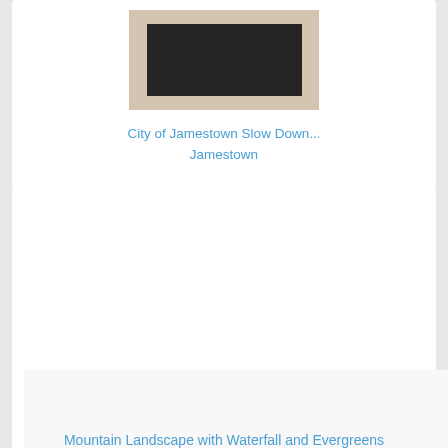[Figure (photo): Artwork image showing a dark rectangular piece mounted on a beige/cream mat or background]
City of Jamestown Slow Down...
Jamestown
[Figure (photo): Large artwork image area, mostly blank/white — image not fully loaded or very light painting]
Mountain Landscape with Waterfall and Evergreens